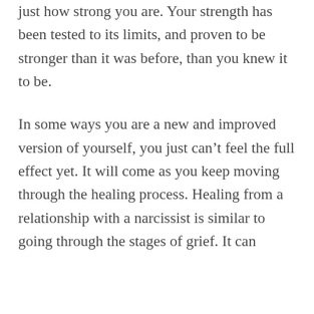just how strong you are. Your strength has been tested to its limits, and proven to be stronger than it was before, than you knew it to be.
In some ways you are a new and improved version of yourself, you just can't feel the full effect yet. It will come as you keep moving through the healing process. Healing from a relationship with a narcissist is similar to going through the stages of grief. It can